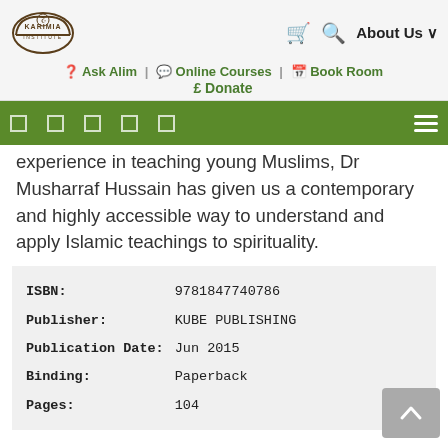KARIMIA INSTITUTE | Ask Alim | Online Courses | Book Room | £ Donate | About Us
experience in teaching young Muslims, Dr Musharraf Hussain has given us a contemporary and highly accessible way to understand and apply Islamic teachings to spirituality.
| Field | Value |
| --- | --- |
| ISBN: | 9781847740786 |
| Publisher: | KUBE PUBLISHING |
| Publication Date: | Jun 2015 |
| Binding: | Paperback |
| Pages: | 104 |
The Author
In 2009 he was awarded the OBE for his services to